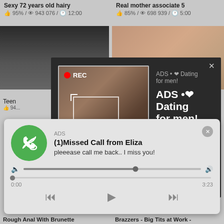Sexy 72 years old hairy
95% / 943 076 / 12:00
Real mother associate 5
85% / 698 939 / 5:00
[Figure (screenshot): Adult video thumbnail left]
[Figure (screenshot): Adult video thumbnail right]
Teen
94...
on
[Figure (screenshot): Dark popup ad with woman taking selfie. Shows REC indicator, camera frame overlay, and text: ADS • ❤ Dating for men! Find bad girls here ❤]
ADS • ❤ Dating for men! Find bad girls here ❤
[Figure (screenshot): Audio notification popup: ADS, (1)Missed Call from Eliza, pleeease call me back.. I miss you!, audio player with progress bar, time 0:00 / 3:23, playback controls]
ADS
(1)Missed Call from Eliza
pleeease call me back.. I miss you!
0:00
3:23
Rough Anal With Brunette
Brazzers - Big Tits at Work -